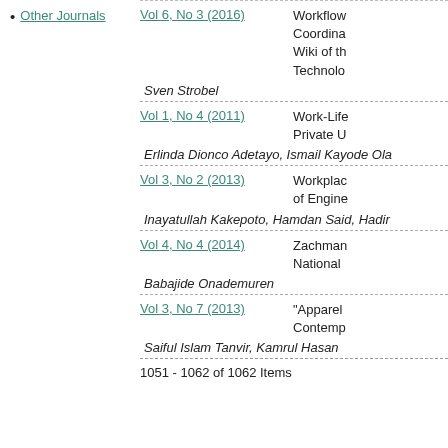Other Journals
Vol 6, No 3 (2016) | Workflow Coordina Wiki of th Technolo
Sven Strobel
Vol 1, No 4 (2011) | Work-Life Private U
Erlinda Dionco Adetayo, Ismail Kayode Ola
Vol 3, No 2 (2013) | Workplac of Engine
Inayatullah Kakepoto, Hamdan Said, Hadir
Vol 4, No 4 (2014) | Zachman National
Babajide Onademuren
Vol 3, No 7 (2013) | "Apparel Contemp
Saiful Islam Tanvir, Kamrul Hasan
1051 - 1062 of 1062 Items